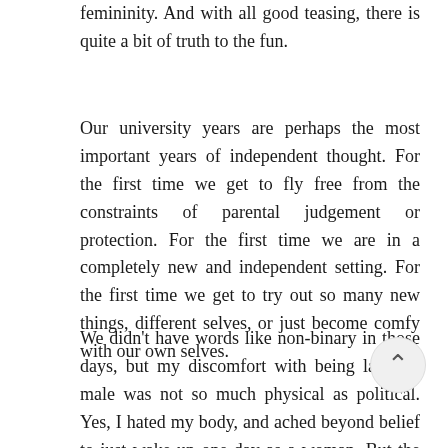femininity.  And with all good teasing, there is quite a bit of truth to the fun.
Our university years are perhaps the most important years of independent thought.  For the first time we get to fly free from the constraints of parental judgement or protection.  For the first time we are in a completely new and independent setting.  For the first time we get to try out so many new things, different selves, or just become comfy with our own selves.
We didn't have words like non-binary in those days, but my discomfort with being labelled male was not so much physical as political.  Yes, I hated my body, and ached beyond belief to just wake up one day as a woman.  But the politics of being male bugged me almost as much.